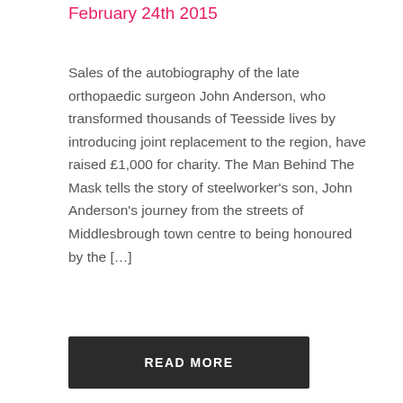February 24th 2015
Sales of the autobiography of the late orthopaedic surgeon John Anderson, who transformed thousands of Teesside lives by introducing joint replacement to the region, have raised £1,000 for charity. The Man Behind The Mask tells the story of steelworker's son, John Anderson's journey from the streets of Middlesbrough town centre to being honoured by the […]
READ MORE